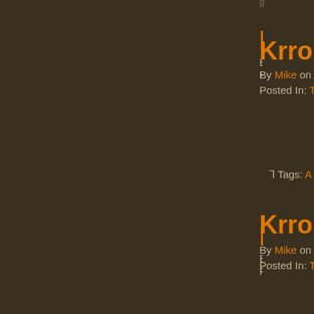Tags: A Friends…
Krrobar Is…
By Mike on August… Posted In: Travels
Tags: A Friends…
Krrobar Is…
By Mike on August… Posted In: Travels
Tags: A Friends…
Krrobar Is…
By Mike on August… Posted In: Travels
Tags: A Friends…
Krrobar Is…
By Mike on August… Posted In: Travels